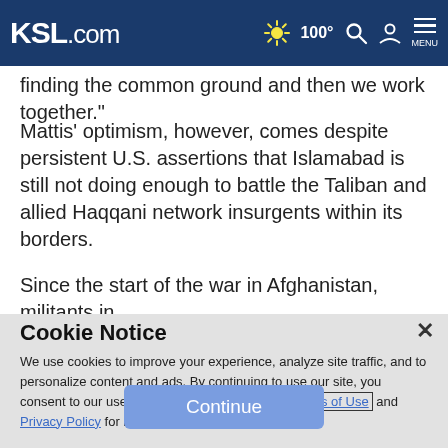KSL.com | 100° | MENU
finding the common ground and then we work together."
Mattis' optimism, however, comes despite persistent U.S. assertions that Islamabad is still not doing enough to battle the Taliban and allied Haqqani network insurgents within its borders.
Since the start of the war in Afghanistan, militants in
Cookie Notice
We use cookies to improve your experience, analyze site traffic, and to personalize content and ads. By continuing to use our site, you consent to our use of cookies. Please visit our Terms of Use and Privacy Policy for more information.
Continue